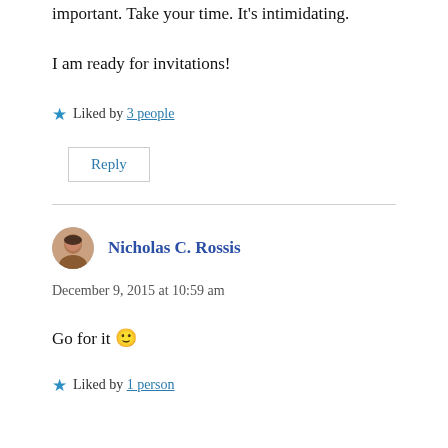important. Take your time. It's intimidating.
I am ready for invitations!
Liked by 3 people
Reply
Nicholas C. Rossis
December 9, 2015 at 10:59 am
Go for it 🙂
Liked by 1 person